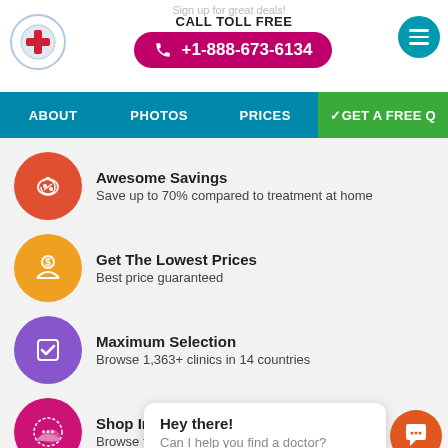Sign up for great deals!
CALL TOLL FREE
+1-888-673-6134
ABOUT   PHOTOS   PRICES   ✓GET A FREE Q
Awesome Savings
Save up to 70% compared to treatment at home
Get The Lowest Prices
Best price guaranteed
Maximum Selection
Browse 1,363+ clinics in 14 countries
Shop In Your Currency
Browse for…cy
Hey there!
Can I help you find a doctor?